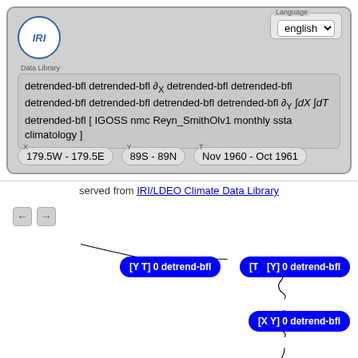[Figure (screenshot): IRI Data Library web interface showing a data query with detrended-bfl operations and partial derivative notation, coordinate selectors, and a flowchart of detrend-bfl operations]
detrended-bfl detrended-bfl ∂X detrended-bfl detrended-bfl detrended-bfl detrended-bfl detrended-bfl detrended-bfl ∂Y ∫dX ∫dT detrended-bfl [ IGOSS nmc Reyn_SmithOlv1 monthly ssta climatology ]
179.5W - 179.5E
89S - 89N
Nov 1960 - Oct 1961
served from IRI/LDEO Climate Data Library
[Figure (flowchart): Flowchart showing nodes: [Y T] 0 detrend-bfl → [T] 0 detrend-bfl → [Y] 0 detrend-bfl, then branching down to [X Y] 0 detrend-bfl, [T] 0 detrend-bfl, [X] 0 detrend-bfl, [X] partial]